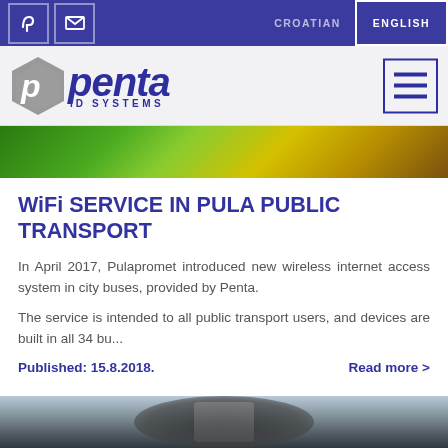CROATIAN  ENGLISH
[Figure (logo): Penta ID Systems logo with stylized P and blue italic text]
[Figure (photo): Close-up of colorful bus exterior, green and yellow]
WiFi SERVICE IN PULA PUBLIC TRANSPORT
In April 2017, Pulapromet introduced new wireless internet access system in city buses, provided by Penta.
The service is intended to all public transport users, and devices are built in all 34 bu...
Published: 15.8.2018.
Read more >
[Figure (photo): Partial view of public transport bus, partially visible at bottom]